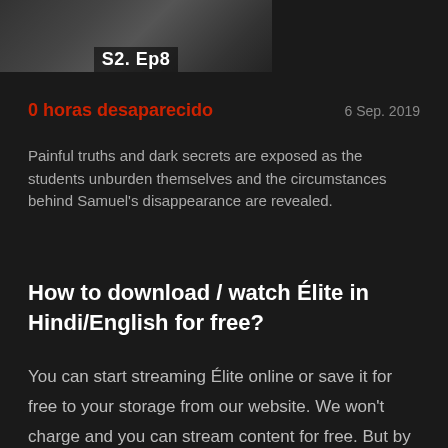[Figure (screenshot): Thumbnail image showing a TV show scene with text overlay 'S2. Ep8']
0 horas desaparecido
6 Sep. 2019
Painful truths and dark secrets are exposed as the students unburden themselves and the circumstances behind Samuel's disappearance are revealed.
How to download / watch Élite in Hindi/English for free?
You can start streaming Élite online or save it for free to your storage from our website. We won't charge and you can stream content for free. But by clicking on the buttons above, you can choose the quality you want. All episodes are available in 480p, 720p HD,